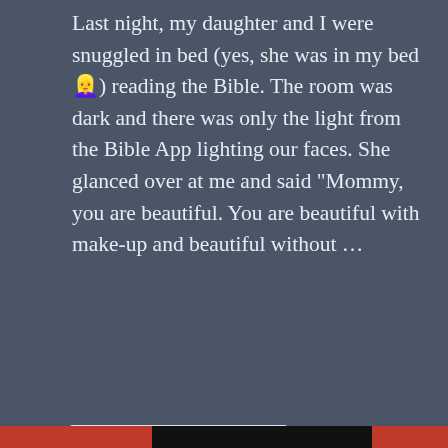Last night, my daughter and I were snuggled in bed (yes, she was in my bed 🙆) reading the Bible. The room was dark and there was only the light from the Bible App lighting our faces. She glanced over at me and said "Mommy, you are beautiful. You are beautiful with make-up and beautiful without …
Continue reading
Dr. Tameka Bruce
Children, Christianity, Encouragement, Faith,
Privacy & Cookies: This site uses cookies. By continuing to use this website, you agree to their use.
To find out more, including how to control cookies, see here: Cookie Policy
Close and accept